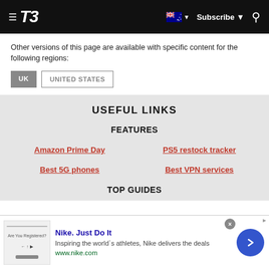T3 — Subscribe
Other versions of this page are available with specific content for the following regions:
UK
UNITED STATES
USEFUL LINKS
FEATURES
Amazon Prime Day
PS5 restock tracker
Best 5G phones
Best VPN services
TOP GUIDES
[Figure (infographic): Nike advertisement banner: Nike Just Do It — Inspiring the world's athletes, Nike delivers the deals. www.nike.com]